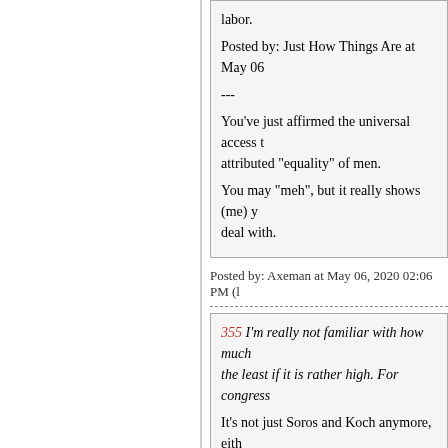labor.
Posted by: Just How Things Are at May 06...
---
You've just affirmed the universal access t... attributed "equality" of men.
You may "meh", but it really shows (me) y... deal with.
Posted by: Axeman at May 06, 2020 02:06 PM (l...
355 I'm really not familiar with how muc... the least if it is rather high. For congress...
It's not just Soros and Koch anymore, eith... too. No shortage of cocksuckers who wan...
Posted by: Ian S. at May 06, 2020 02:06 PM (ZG...
356 >>Who is "he"? Biden? Fauchi?
He is Donald J. Trump.
Hilary said that during the last election.